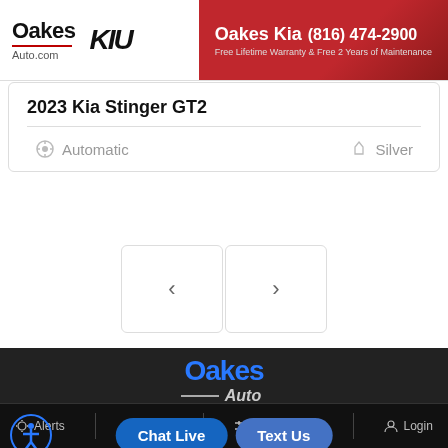[Figure (logo): Oakes Auto.com and KIA logo on left, Oakes Kia header with phone (816) 474-2900 and subtitle 'Free Lifetime Warranty & Free 2 Years of Maintenance' on red background on right]
2023 Kia Stinger GT2
Automatic   Silver
[Figure (screenshot): Two navigation buttons with left < and right > arrows for scrolling]
[Figure (logo): Oakes Auto logo in blue and white on dark background footer]
Local: (913) 222-5300
7301 State Ave • K… 6611…
Chat Live   Text Us
New Cars   Used Cars   More
Alerts   Save   Compare 0   Login